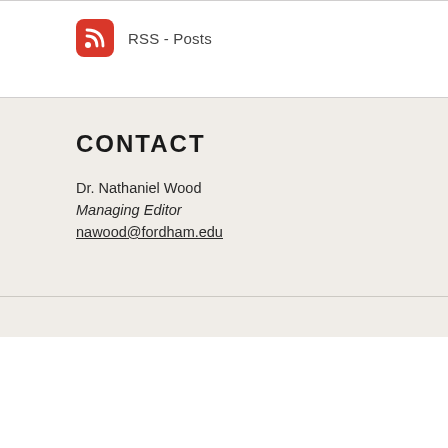[Figure (logo): RSS feed icon — red rounded square with white WiFi/RSS signal symbol]
RSS - Posts
CONTACT
Dr. Nathaniel Wood
Managing Editor
nawood@fordham.edu